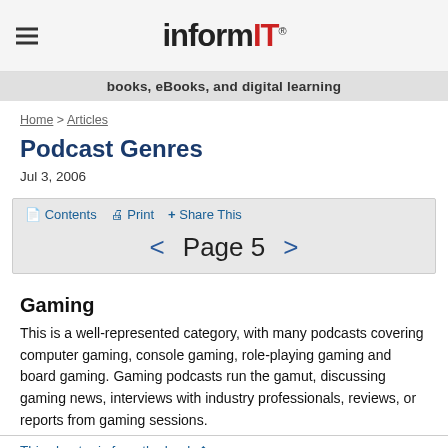informIT
books, eBooks, and digital learning
Home > Articles
Podcast Genres
Jul 3, 2006
Contents  Print  + Share This   < Page 5 >
Gaming
This is a well-represented category, with many podcasts covering computer gaming, console gaming, role-playing gaming and board gaming. Gaming podcasts run the gamut, discussing gaming news, interviews with industry professionals, reviews, or reports from gaming sessions.
This chapter is from the book